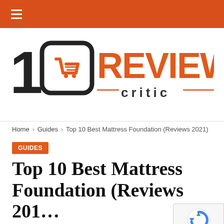≡
[Figure (logo): 10 Review Critic logo with shopping cart icon]
Home > Guides > Top 10 Best Mattress Foundation (Reviews 2021)
GUIDES
Top 10 Best Mattress Foundation (Reviews 2021)
SEPTEMBER 23, 2021   4 MINS READ